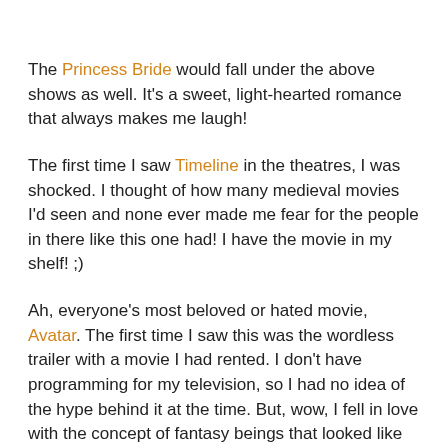The Princess Bride would fall under the above shows as well. It's a sweet, light-hearted romance that always makes me laugh!
The first time I saw Timeline in the theatres, I was shocked. I thought of how many medieval movies I'd seen and none ever made me fear for the people in there like this one had! I have the movie in my shelf! ;)
Ah, everyone's most beloved or hated movie, Avatar. The first time I saw this was the wordless trailer with a movie I had rented. I don't have programming for my television, so I had no idea of the hype behind it at the time. But, wow, I fell in love with the concept of fantasy beings that looked like elves and the romance behind it was what really hooked me! :D